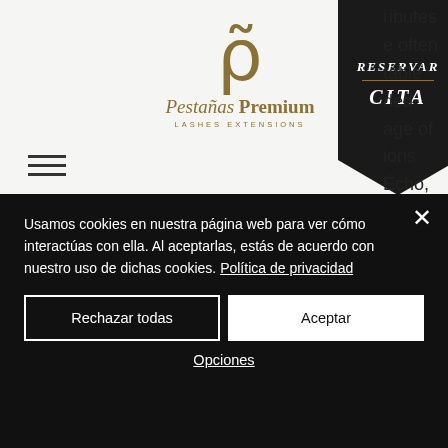[Figure (logo): Pestañas Premium Lashes Extensions logo with stylized P symbol in gold/olive color]
[Figure (screenshot): RESERVAR CITA button/banner in dark ribbon shape with gold divider line]
tributes e often table ded age of ions Écho, rd, you want no deposit bonus codes, matched deposit bonus codes free bet bonus codes or even exclusive bonus codes as a new betting and casino customer, or maybe just
Usamos cookies en nuestra página web para ver cómo interactúas con ella. Al aceptarlas, estás de acuerdo con nuestro uso de dichas cookies. Política de privacidad
Rechazar todas
Aceptar
Opciones